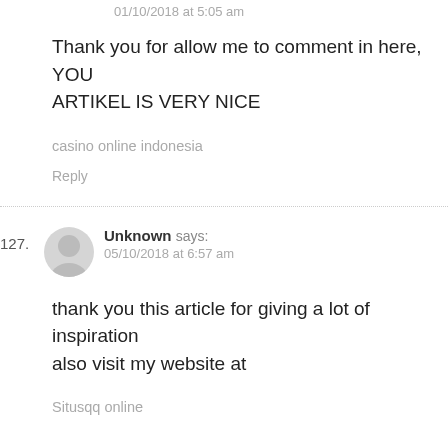01/10/2018 at 5:05 am
Thank you for allow me to comment in here, YOUR ARTIKEL IS VERY NICE
casino online indonesia
Reply
127.
Unknown says:
05/10/2018 at 6:57 am
thank you this article for giving a lot of inspiration also visit my website at
Situsqq online